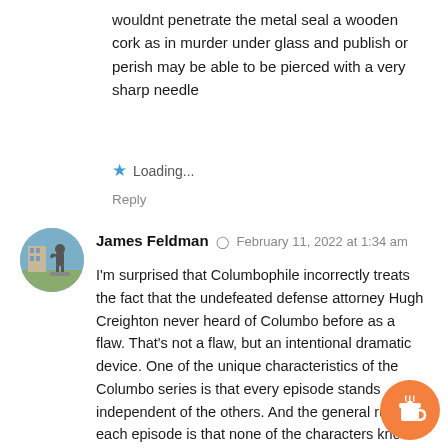wouldnt penetrate the metal seal a wooden cork as in murder under glass and publish or perish may be able to be pierced with a very sharp needle
★ Loading...
Reply
James Feldman  ◉  February 11, 2022 at 1:34 am
I'm surprised that Columbophile incorrectly treats the fact that the undefeated defense attorney Hugh Creighton never heard of Columbo before as a flaw. That's not a flaw, but an intentional dramatic device. One of the unique characteristics of the Columbo series is that every episode stands independent of the others. And the general rule in each episode is that none of the characters know who Columbo is, except for certain key recurring characters, such as Barney, Bert, Sergeant George Kramer, Sergeant Frederick Wilson, and George (coroner). Those characters are different because they work regularly with Columbo on cases characters working in venues where Columbo likes as well as eat or relax, such as restaurants. Even police